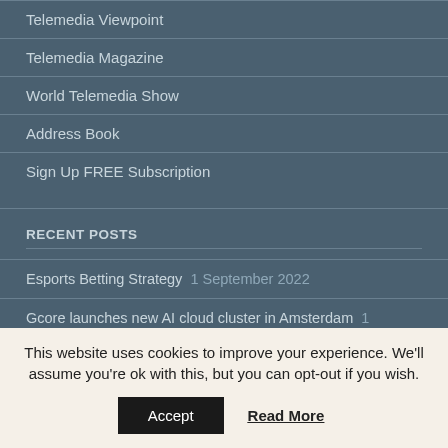Telemedia Viewpoint
Telemedia Magazine
World Telemedia Show
Address Book
Sign Up FREE Subscription
RECENT POSTS
Esports Betting Strategy  1 September 2022
Gcore launches new AI cloud cluster in Amsterdam  1 September
This website uses cookies to improve your experience. We'll assume you're ok with this, but you can opt-out if you wish.
Accept
Read More